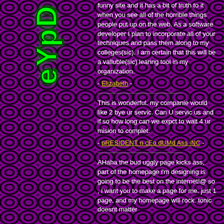[Figure (illustration): Green 3D dripping slime-style vertical text logo on purple leopard-print background, reading vertically along left sidebar]
funny site and it has a bit of truth to it when you see all of the horrible things people put up on the web. As a software developer I plan to incorporate all of your techniques and pass them along to my colleges(sic). I am certain that this will be a valluble(sic) learing tool in my organization.
- Elizabeth -
This is wonderful. my companie would like 2 bye ur servic. Can U servic us and if so how long can we expct to wait 4 ur mision to complet.
- pRESIDENT n cEo dUMd Ass iNC -
AHaha the bud uggly page kicks ass, part of the homepage i'm designing is going to be the best on the internet!@ so , i want you to make a page for me. just 1 page, and my homepage will rock. tonic doesnt matter